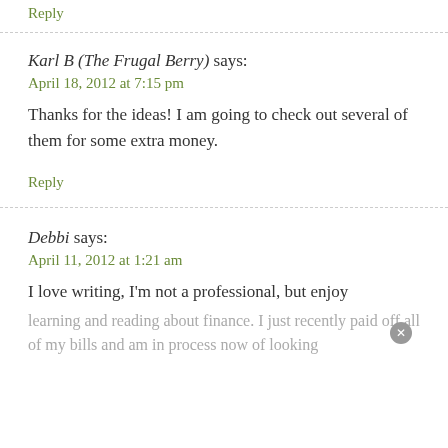Reply
Karl B (The Frugal Berry) says:
April 18, 2012 at 7:15 pm
Thanks for the ideas! I am going to check out several of them for some extra money.
Reply
Debbi says:
April 11, 2012 at 1:21 am
I love writing, I'm not a professional, but enjoy learning and reading about finance. I just recently paid off all of my bills and am in process now of looking